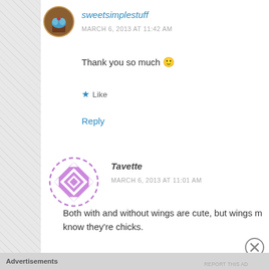[Figure (photo): Round avatar showing a cupcake illustration for user sweetsimplestuff]
sweetsimplestuff
MARCH 6, 2013 AT 11:42 AM
Thank you so much 🙂
★ Like
Reply
[Figure (logo): Purple dashed circle with geometric diamond/cross pattern for user Tavette]
Tavette
MARCH 6, 2013 AT 11:01 AM
Both with and without wings are cute, but wings m… know they're chicks.
Advertisements
REPORT THIS AD